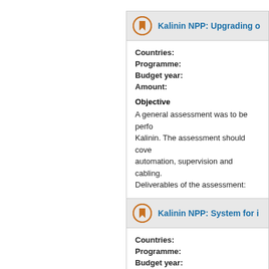Kalinin NPP: Upgrading o
Countries:
Programme:
Budget year:
Amount:
Objective
A general assessment was to be perfo Kalinin. The assessment should cove automation, supervision and cabling. Deliverables of the assessment:
Kalinin NPP: System for i
Countries:
Programme:
Budget year:
Amount:
Background